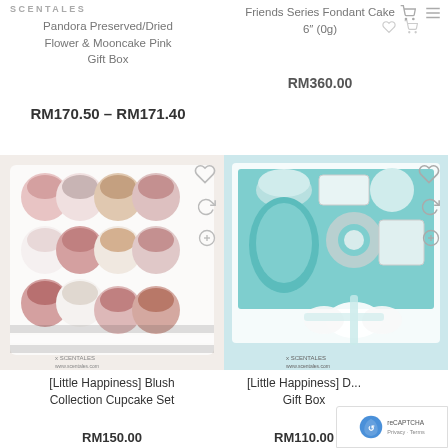SCENTALES
Pandora Preserved/Dried Flower & Mooncake Pink Gift Box
RM170.50 – RM171.40
Friends Series Fondant Cake 6" (0g)
RM360.00
[Figure (photo): Box of pink and cream frosted cupcakes with floral designs and gold accents, displayed in a white tray with black and white striped liners. Watermark: x SCENTALES]
[Little Happiness] Blush Collection Cupcake Set
RM150.00
[Figure (photo): Tiffany blue themed gift box with macarons, cookies and desserts decorated with white ribbon bow. Watermark: x SCENTALES]
[Little Happiness] D... Gift Box
RM110.00